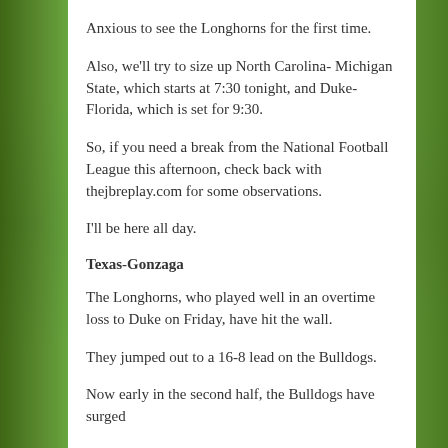Anxious to see the Longhorns for the first time.
Also, we'll try to size up North Carolina- Michigan State, which starts at 7:30 tonight, and Duke-Florida, which is set for 9:30.
So, if you need a break from the National Football League this afternoon, check back with thejbreplay.com for some observations.
I'll be here all day.
Texas-Gonzaga
The Longhorns, who played well in an overtime loss to Duke on Friday, have hit the wall.
They jumped out to a 16-8 lead on the Bulldogs.
Now early in the second half, the Bulldogs have surged